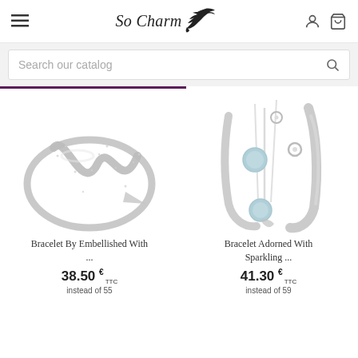So Charm — navigation header with hamburger menu, logo, user icon, cart icon
Search our catalog
[Figure (photo): Silver bracelet with cross/wave design embellished with crystals]
Bracelet By Embellished With ...
38.50 € TTC instead of 55
[Figure (photo): Silver open cuff bracelet adorned with sparkling blue stones and curled details]
Bracelet Adorned With Sparkling ...
41.30 € TTC instead of 59